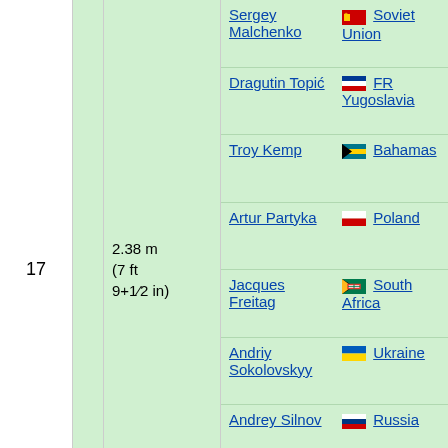| Rank |  | Mark | Athlete | Nation | Date | Venue |
| --- | --- | --- | --- | --- | --- | --- |
| 17 |  | 2.38 m (7 ft 9+1/2 in) | Sergey Malchenko | Soviet Union | 04 SEP 1988 | Banská Bystrica |
|  |  |  | Dragutin Topić | FR Yugoslavia | 01 AUG 1993 | Belgrade |
|  |  |  | Troy Kemp | Bahamas | 12 JUL 1995 | Nice |
|  |  |  | Artur Partyka | Poland | 18 AUG 1996 | Eberstadt |
|  |  |  | Jacques Freitag | South Africa | 05 MAR 2005 | Oudtshoorn |
|  |  |  | Andriy Sokolovskyy | Ukraine | 08 JUL 2005 | Rome |
|  |  |  | Andrey Silnov | Russia | 25 JUL 2008 | London |
|  |  |  | Zhang Guowei | China | 30 MAY 2015 | Eugene |